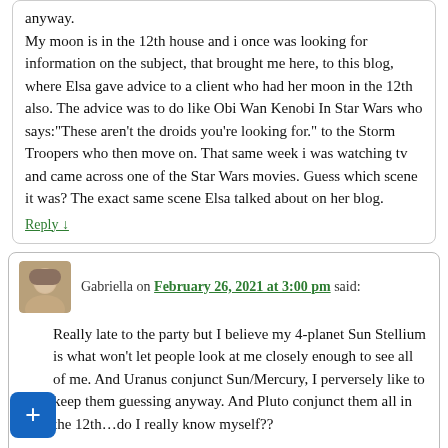anyway. My moon is in the 12th house and i once was looking for information on the subject, that brought me here, to this blog, where Elsa gave advice to a client who had her moon in the 12th also. The advice was to do like Obi Wan Kenobi In Star Wars who says:"These aren't the droids you're looking for." to the Storm Troopers who then move on. That same week i was watching tv and came across one of the Star Wars movies. Guess which scene it was? The exact same scene Elsa talked about on her blog.
Reply ↓
Gabriella on February 26, 2021 at 3:00 pm said:
Really late to the party but I believe my 4-planet Sun Stellium is what won't let people look at me closely enough to see all of me. And Uranus conjunct Sun/Mercury, I perversely like to keep them guessing anyway. And Pluto conjunct them all in the 12th…do I really know myself??
Reply ↓
Elsa on February 26, 2021 at 3:01 pm said:
Welcome, Gabriella. That's an interesting take.
Reply ↓